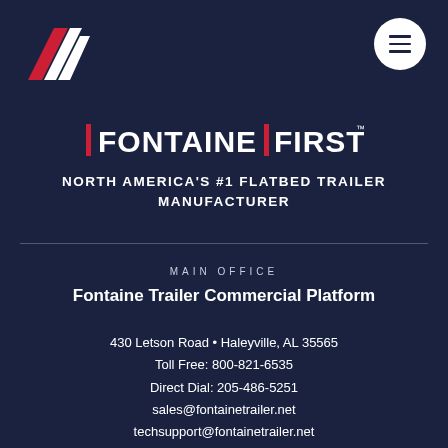[Figure (logo): Fontaine F-shaped logo in red and white on dark navy background, top left corner]
[Figure (logo): Circular white menu/hamburger button icon, top right corner]
[Figure (logo): Fontaine First brand logo in red and white stylized text]
NORTH AMERICA'S #1 FLATBED TRAILER MANUFACTURER
MAIN OFFICE
Fontaine Trailer Commercial Platform
430 Letson Road • Haleyville, AL 35565
Toll Free: 800-821-6535
Direct Dial: 205-486-5251
sales@fontainetrailer.net
techsupport@fontainetrailer.net